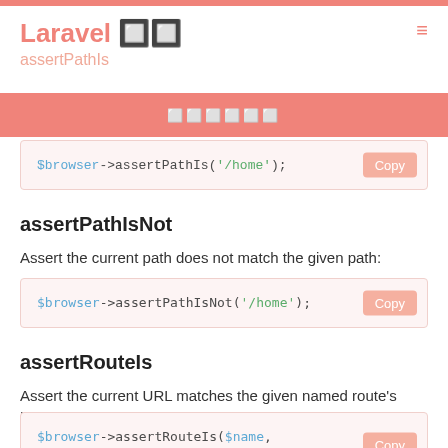Laravel 🔲🔲 — assertPathIs
assertPathIsNot
Assert the current path does not match the given path:
$browser->assertPathIsNot('/home');
assertRouteIs
Assert the current URL matches the given named route's URL:
$browser->assertRouteIs($name, $parameters);